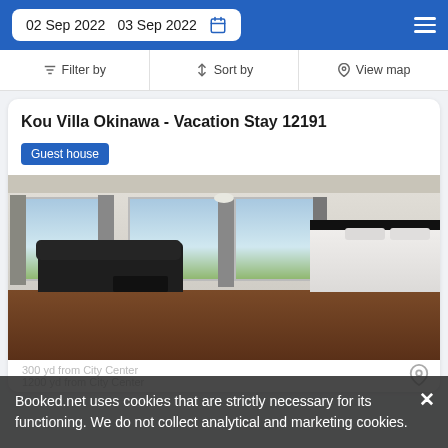02 Sep 2022   03 Sep 2022
Filter by   Sort by   View map
Kou Villa Okinawa - Vacation Stay 12191
Guest house
[Figure (photo): Interior room photo showing a spacious bedroom with dark wood floors, sliding glass doors/windows with curtains, a dark leather sofa, coffee table, and a bed in the foreground.]
Booked.net uses cookies that are strictly necessary for its functioning. We do not collect analytical and marketing cookies.
300 yd from City Center
1200 yd from City Center